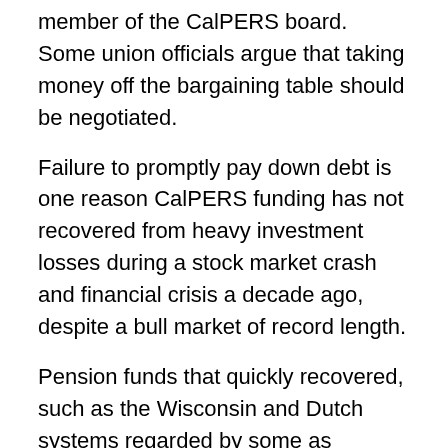member of the CalPERS board. Some union officials argue that taking money off the bargaining table should be negotiated.
Failure to promptly pay down debt is one reason CalPERS funding has not recovered from heavy investment losses during a stock market crash and financial crisis a decade ago, despite a bull market of record length.
Pension funds that quickly recovered, such as the Wisconsin and Dutch systems regarded by some as models, not only promptly pay off debt from investment losses but also can cut pension payments to retirees if needed.
The CalPERS investment fund plunged from about $260 billion in 2007 to $160 billion in 2009. The funding level fell from 100 percent of the projected assets needed to pay